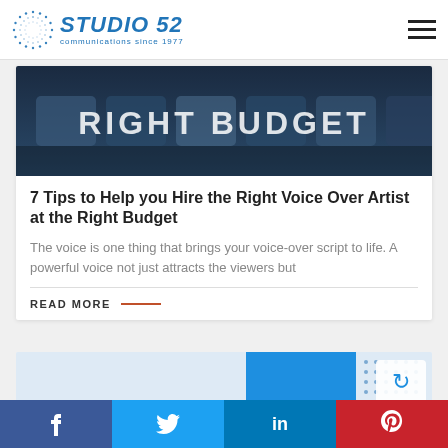Studio 52 — communications since 1977
[Figure (photo): Close-up photo of keyboard keys with text 'RIGHT BUDGET' visible, dark blue tones]
7 Tips to Help you Hire the Right Voice Over Artist at the Right Budget
The voice is one thing that brings your voice-over script to life. A powerful voice not just attracts the viewers but
READ MORE
[Figure (photo): Partial view of a second article card with light blue background and blue graphic element on the right]
f  twitter  in  Pinterest — social share buttons